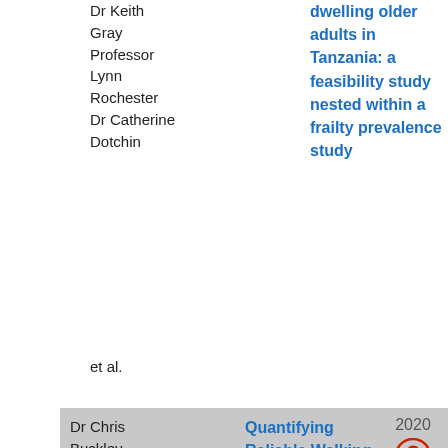Dr Keith Gray Professor Lynn Rochester Dr Catherine Dotchin
dwelling older adults in Tanzania: a feasibility study nested within a frailty prevalence study
et al.
Dr Chris Buckley Dr Silvia Del Din Dr Susan Lord Professor Lynn Rochester Professor Ngaire Kerse
Quantifying Reliable Walking Activity with a Wearable Device in Aged Residential Care: How Many Days Are Enough?
2020